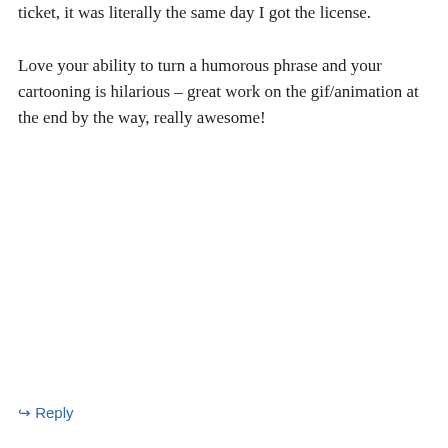ticket, it was literally the same day I got the license.
Love your ability to turn a humorous phrase and your cartooning is hilarious – great work on the gif/animation at the end by the way, really awesome!
↳ Reply
lovethebadguy on December 10, 2011 at 9:08 pm
The picture! IT'S MOVING!!
↳ Reply
Advertisements
[Figure (screenshot): Dark advertisement banner for a project management tool showing a small white square logo, the number 2, and the text 'Fewer meetings, more work.']